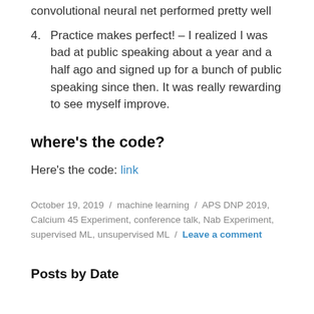convolutional neural net performed pretty well
4. Practice makes perfect! – I realized I was bad at public speaking about a year and a half ago and signed up for a bunch of public speaking since then. It was really rewarding to see myself improve.
where's the code?
Here's the code: link
October 19, 2019 / machine learning / APS DNP 2019, Calcium 45 Experiment, conference talk, Nab Experiment, supervised ML, unsupervised ML / Leave a comment
Posts by Date